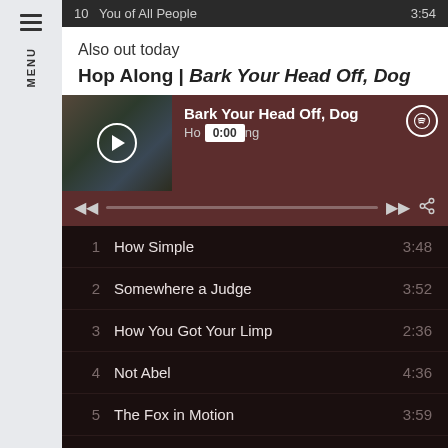10   You of All People   3:54
Also out today
Hop Along | Bark Your Head Off, Dog
[Figure (screenshot): Spotify player widget showing album 'Bark Your Head Off, Dog' by Hop Along with playback controls, progress bar at 0:00]
1   How Simple   3:48
2   Somewhere a Judge   3:52
3   How You Got Your Limp   2:36
4   Not Abel   4:36
5   The Fox in Motion   3:59
6   One That Suits Me   5:16
7   What the Writer Meant   4:06
8   Look of Love   6:11